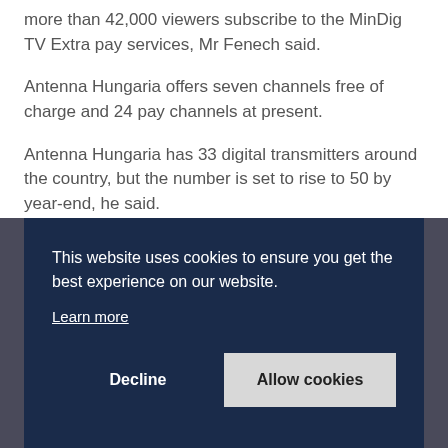more than 42,000 viewers subscribe to the MinDig TV Extra pay services, Mr Fenech said.
Antenna Hungaria offers seven channels free of charge and 24 pay channels at present.
Antenna Hungaria has 33 digital transmitters around the country, but the number is set to rise to 50 by year-end, he said.
[Figure (photo): Partial photo visible behind a cookie consent overlay banner]
This website uses cookies to ensure you get the best experience on our website. Learn more
Decline | Allow cookies